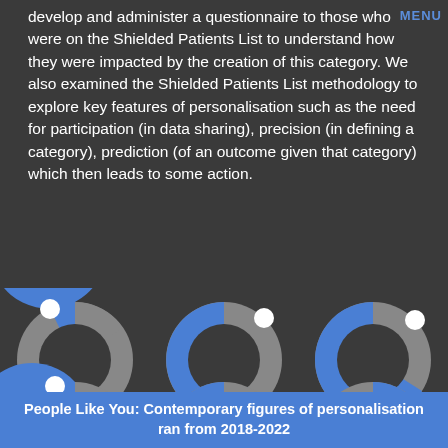develop and administer a questionnaire to those who were on the Shielded Patients List to understand how they were impacted by the creation of this category. We also examined the Shielded Patients List methodology to explore key features of personalisation such as the need for participation (in data sharing), precision (in defining a category), prediction (of an outcome given that category) which then leads to some action.
[Figure (donut-chart): Six donut charts arranged in a 3x2 grid, each showing a blue segment and a grey segment with a white circle marker, representing survey or statistical data about the Shielded Patients List.]
People Like You: Contemporary figures of personalisation ran from 2018-2022